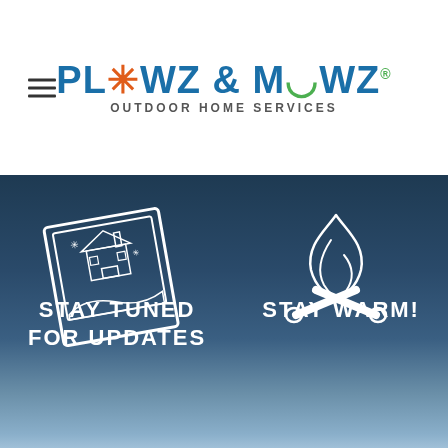[Figure (logo): Plowz & Mowz Outdoor Home Services logo with snowflake and leaf icons]
[Figure (illustration): Dark blue winter background with two white line-art icons: a polaroid-style house in snow scene on the left, and a campfire with logs on the right]
STAY TUNED FOR UPDATES
STAY WARM!